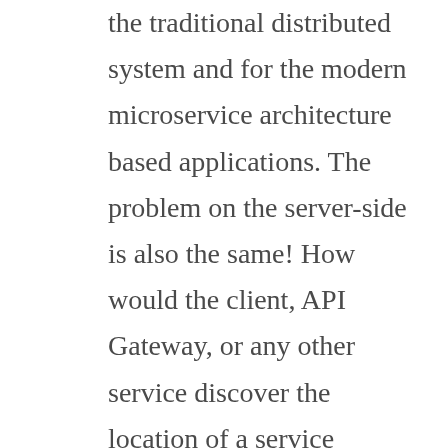the traditional distributed system and for the modern microservice architecture based applications. The problem on the server-side is also the same! How would the client, API Gateway, or any other service discover the location of a service instance? Here as well, each instance of a service exposes some remote API like HTTP/REST, etc. The number of service instances and their locations keep changing. The virtual machines are assigned